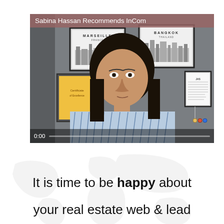[Figure (screenshot): Video player thumbnail showing Sabina Hassan sitting in front of a wall with framed certificates and city-themed prints (Marseille, Bangkok). A title bar reads 'Sabina Hassan Recommends InCom'. The video shows timestamp 0:00 and a progress bar at the bottom.]
It is time to be happy about your real estate web & lead